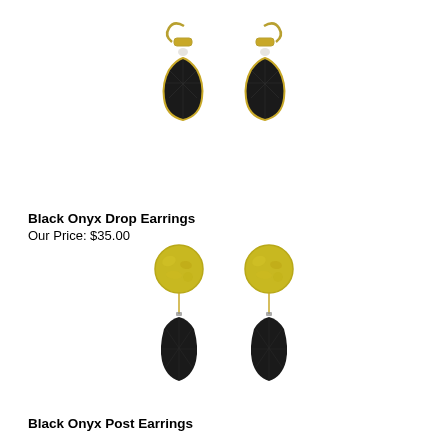[Figure (photo): Photo of Black Onyx Drop Earrings – two gold lever-back earrings with faceted black onyx teardrop stones and small crystal beads]
Black Onyx Drop Earrings
Our Price: $35.00
[Figure (photo): Photo of Black Onyx Post Earrings – two gold hammered disc post earrings with dangling faceted black onyx briolette drops]
Black Onyx Post Earrings